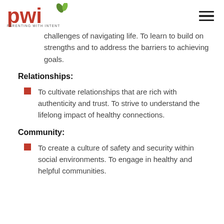pwi PARENTING WITH INTENT
challenges of navigating life. To learn to build on strengths and to address the barriers to achieving goals.
Relationships:
To cultivate relationships that are rich with authenticity and trust. To strive to understand the lifelong impact of healthy connections.
Community:
To create a culture of safety and security within social environments. To engage in healthy and helpful communities.